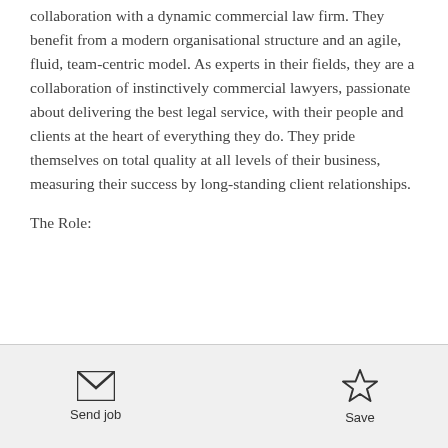collaboration with a dynamic commercial law firm. They benefit from a modern organisational structure and an agile, fluid, team-centric model. As experts in their fields, they are a collaboration of instinctively commercial lawyers, passionate about delivering the best legal service, with their people and clients at the heart of everything they do. They pride themselves on total quality at all levels of their business, measuring their success by long-standing client relationships.
The Role:
Send job | Save